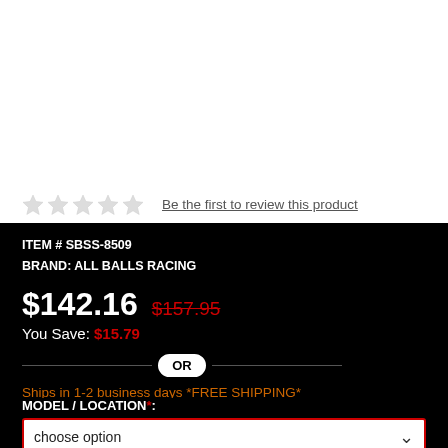Be the first to review this product
ITEM # SBSS-8509
BRAND: ALL BALLS RACING
$142.16  $157.95
You Save: $15.79
Ships in 1-2 business days *FREE SHIPPING*
MODEL / LOCATION*:
choose option